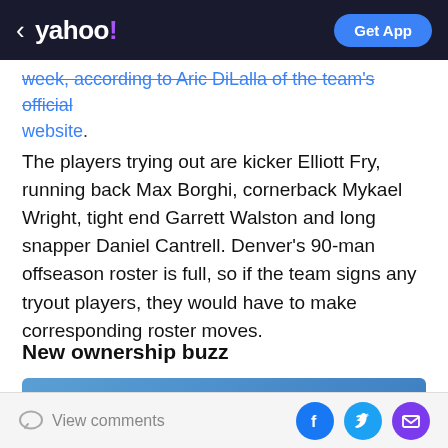< yahoo! | Get App
week, according to Aric DiLalla of the team's official website.
The players trying out are kicker Elliott Fry, running back Max Borghi, cornerback Mykael Wright, tight end Garrett Walston and long snapper Daniel Cantrell. Denver's 90-man offseason roster is full, so if the team signs any tryout players, they would have to make corresponding roster moves.
New ownership buzz
[Figure (photo): Partial photo of a person with blonde/gray hair against a blue background]
View comments | Facebook share | Twitter share | Email share